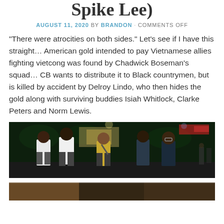Spike Lee)
AUGUST 11, 2020 BY BRANDON · COMMENTS OFF
“There were atrocities on both sides.” Let’s see if I have this straight… American gold intended to pay Vietnamese allies fighting vietcong was found by Chadwick Boseman’s squad… CB wants to distribute it to Black countrymen, but is killed by accident by Delroy Lindo, who then hides the gold along with surviving buddies Isiah Whitlock, Clarke Peters and Norm Lewis.
[Figure (photo): Four men walking together at night in a lit-up city street, one in a white shirt, one in a yellow patterned shirt, others in dark clothing. City lights and trees visible in background.]
[Figure (photo): Partial photo visible at the bottom of the page, cut off.]